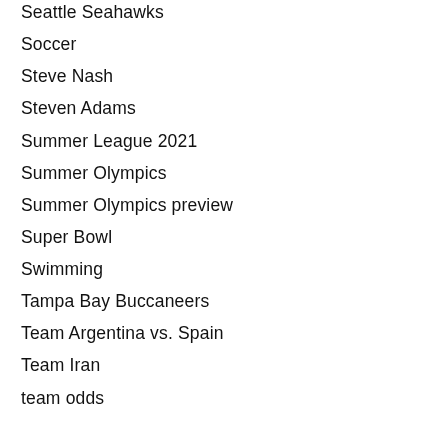Seattle Seahawks
Soccer
Steve Nash
Steven Adams
Summer League 2021
Summer Olympics
Summer Olympics preview
Super Bowl
Swimming
Tampa Bay Buccaneers
Team Argentina vs. Spain
Team Iran
team odds